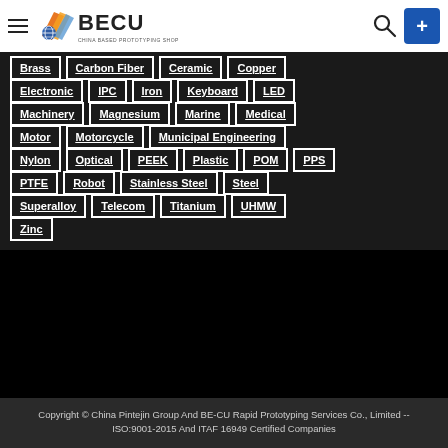[Figure (logo): BECU China Based Prototyping Shop logo with colored book-like icon]
Brass
Carbon Fiber
Ceramic
Copper
Electronic
IPC
Iron
Keyboard
LED
Machinery
Magnesium
Marine
Medical
Motor
Motorcycle
Municipal Engineering
Nylon
Optical
PEEK
Plastic
POM
PPS
PTFE
Robot
Stainless Steel
Steel
Superalloy
Telecom
Titanium
UHMW
Zinc
Copyright © China Pintejin Group And BE-CU Rapid Prototyping Services Co., Limited -- ISO:9001-2015 And ITAF 16949 Certified Companies